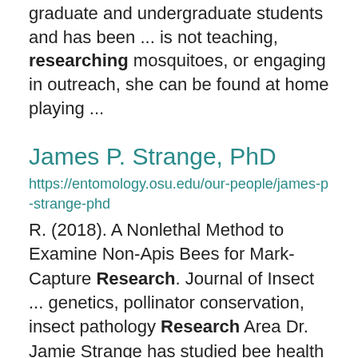graduate and undergraduate students and has been ... is not teaching, researching mosquitoes, or engaging in outreach, she can be found at home playing ...
James P. Strange, PhD
https://entomology.osu.edu/our-people/james-p-strange-phd
R. (2018). A Nonlethal Method to Examine Non-Apis Bees for Mark-Capture Research. Journal of Insect ... genetics, pollinator conservation, insect pathology Research Area Dr. Jamie Strange has studied bee health ... and genetics for over 20 years. The research focus of the lab is to